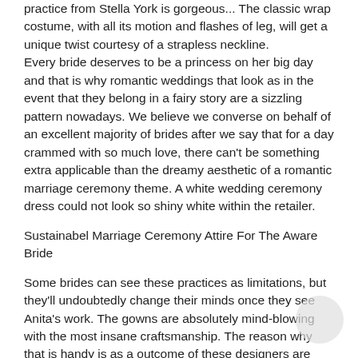practice from Stella York is gorgeous... The classic wrap costume, with all its motion and flashes of leg, will get a unique twist courtesy of a strapless neckline. Every bride deserves to be a princess on her big day and that is why romantic weddings that look as in the event that they belong in a fairy story are a sizzling pattern nowadays. We believe we converse on behalf of an excellent majority of brides after we say that for a day crammed with so much love, there can't be something extra applicable than the dreamy aesthetic of a romantic marriage ceremony theme. A white wedding ceremony dress could not look so shiny white within the retailer.
Sustainabel Marriage Ceremony Attire For The Aware Bride
Some brides can see these practices as limitations, but they'll undoubtedly change their minds once they see Anita's work. The gowns are absolutely mind-blowing with the most insane craftsmanship. The reason why that is handy is as a outcome of these designers are already nicely versed in essentially the most sustainable practices and materials, so you don't should do all of the analysis your self. Donations to local/international organizations and paid volunteer days for employees help to assist the entire people not included on the guest record. That's why we search for deadstock, classic, and recycled variations of issues like lace